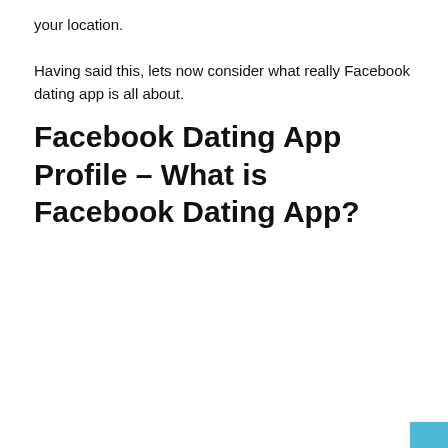your location.
Having said this, lets now consider what really Facebook dating app is all about.
Facebook Dating App Profile – What is Facebook Dating App?